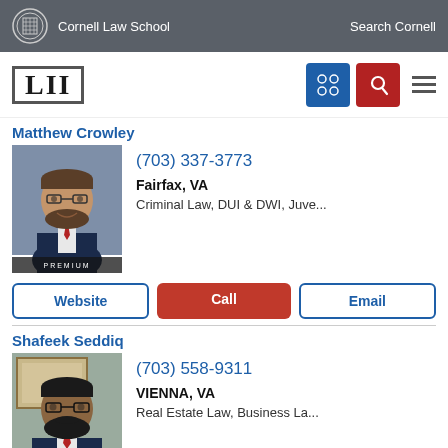Cornell Law School | Search Cornell
[Figure (logo): LII Legal Information Institute logo with navigation icons]
Matthew Crowley
[Figure (photo): Professional headshot of Matthew Crowley, male attorney with glasses and beard, wearing dark suit and red tie. PREMIUM label at bottom.]
(703) 337-3773
Fairfax, VA
Criminal Law, DUI & DWI, Juve...
Website | Call | Email
Shafeek Seddiq
[Figure (photo): Professional headshot of Shafeek Seddiq, male attorney with dark beard and glasses, wearing dark suit and red tie. PREMIUM label at bottom.]
(703) 558-9311
VIENNA, VA
Real Estate Law, Business La...